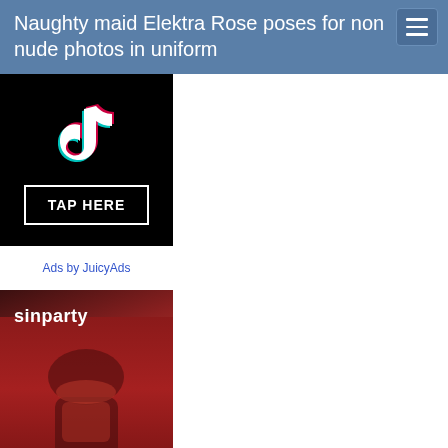Naughty maid Elektra Rose poses for non nude photos in uniform
[Figure (illustration): TikTok ad on black background with TikTok logo and TAP HERE button]
Ads by JuicyAds
[Figure (photo): Sinparty advertisement showing a woman in red lingerie with sinparty logo]